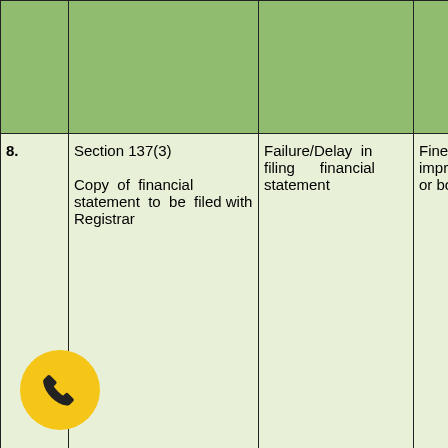|  |  |  |  |
| --- | --- | --- | --- |
|  |  |  |  |
| 8. | Section 137(3)

Copy of financial statement to be filed with Registrar | Failure/Delay in filing financial statement | Fine or imprisonment or both |